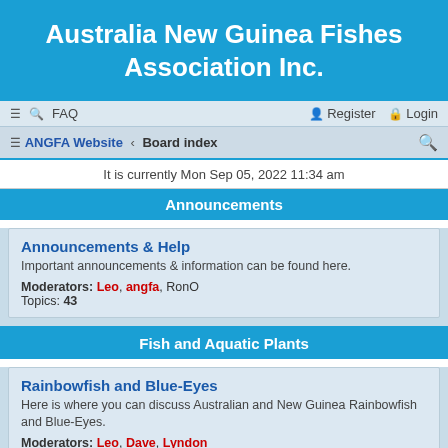Australia New Guinea Fishes Association Inc.
FAQ  Register  Login
ANGFA Website · Board index
It is currently Mon Sep 05, 2022 11:34 am
Announcements
Announcements & Help
Important announcements & information can be found here.
Moderators: Leo, angfa, RonO
Topics: 43
Fish and Aquatic Plants
Rainbowfish and Blue-Eyes
Here is where you can discuss Australian and New Guinea Rainbowfish and Blue-Eyes.
Moderators: Leo, Dave, Lyndon
Topics: 520
Other Native Fish
Want to talk about Gudgeons, Gobies...Archerfish? Do it here.
Moderators: Leo, Dave, Lyndon
Topics: 217
Aquatic Plants